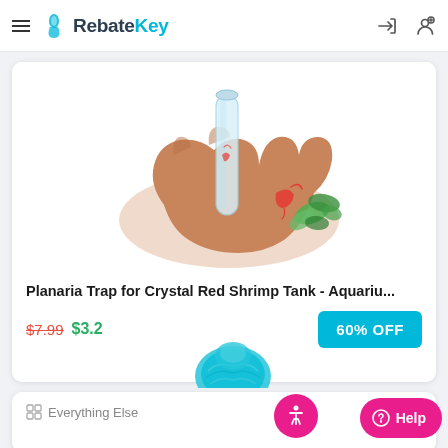RebateKey
[Figure (photo): Hand holding a glass planaria trap with a crystal red shrimp and aquatic plant visible]
Planaria Trap for Crystal Red Shrimp Tank - Aquariu...
$7.99  $3.2  60% OFF
Everything Else
[Figure (photo): Teal/cyan colored aquarium decoration partially visible at bottom of screen]